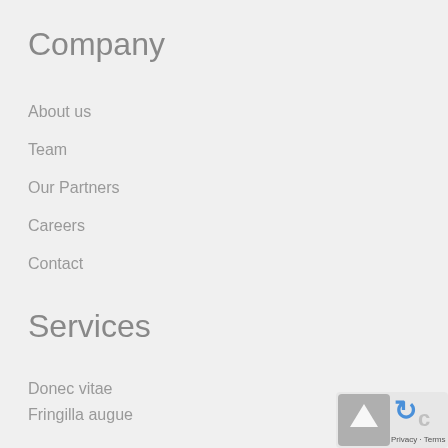Company
About us
Team
Our Partners
Careers
Contact
Services
Donec vitae
Fringilla augue
Proin varius
Vitae eu nulla
Imperdiet sem
[Figure (other): reCAPTCHA badge with circular arrow icon in blue and grey, with Privacy and Terms links]